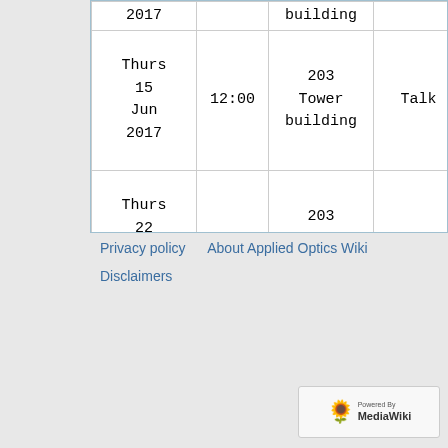| Date | Time | Location | Type | Speaker |
| --- | --- | --- | --- | --- |
| 2017 |  | building |  |  |
| Thurs 15 Jun 2017 | 12:00 | 203 Tower building | Talk | Rica Gond Con |
| Thurs 22 Jun 2017 | 12:00 | 203 Tower building | Free |  |
Privacy policy · About Applied Optics Wiki · Disclaimers
[Figure (logo): Powered by MediaWiki logo]